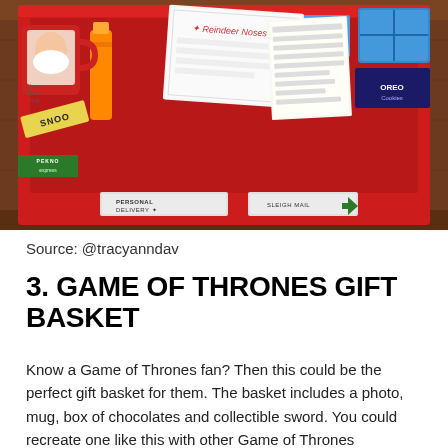[Figure (photo): A red gift tray/basket filled with Christmas-themed items including a red mug with Santa face, a yellow tag labeled SNOO, a Reindeer Noses card, an orange bottle, blue packages, white paper card with lines, and other gift items. The tray has two label stickers on the front, one with arrows and text.]
Source: @tracyanndav
3. GAME OF THRONES GIFT BASKET
Know a Game of Thrones fan? Then this could be the perfect gift basket for them. The basket includes a photo, mug, box of chocolates and collectible sword. You could recreate one like this with other Game of Thrones merchandise. If you know someone who is a big fan of another TV show of film, you could